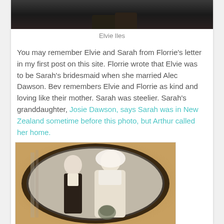[Figure (photo): Partial cropped black and white photograph at top of page, showing two figures (Elvie Iles)]
Elvie Iles
You may remember Elvie and Sarah from Florrie's letter in my first post on this site. Florrie wrote that Elvie was to be Sarah's bridesmaid when she married Alec Dawson. Bev remembers Elvie and Florrie as kind and loving like their mother. Sarah was steelier. Sarah's granddaughter, Josie Dawson, says Sarah was in New Zealand sometime before this photo, but Arthur called her home.
[Figure (photo): Black and white wedding portrait photograph of a bride and groom, displayed within an oval dark wooden frame set against a warm brown background. The bride wears a veil and holds a bouquet; the groom wears a dark suit.]